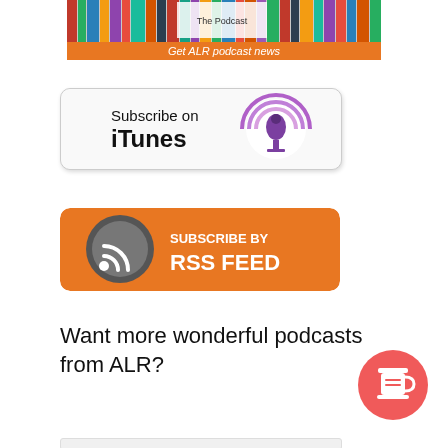[Figure (screenshot): ALR podcast banner with orange bar saying 'Get ALR podcast news']
[Figure (screenshot): Subscribe on iTunes button with purple podcast icon]
[Figure (screenshot): Subscribe by RSS Feed button with orange background and RSS icon]
Want more wonderful podcasts from ALR?
[Figure (illustration): Red circular button with white coffee cup icon (Buy Me a Coffee)]